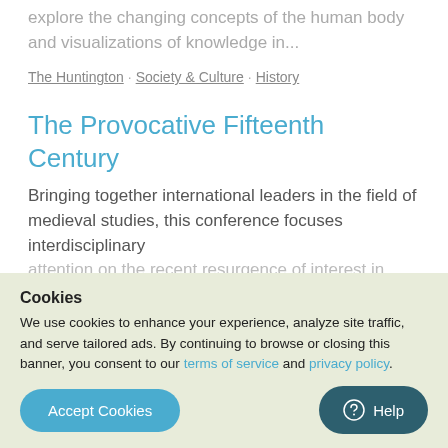explore the changing concepts of the human body and visualizations of knowledge in...
The Huntington · Society & Culture · History
The Provocative Fifteenth Century
Bringing together international leaders in the field of medieval studies, this conference focuses interdisciplinary attention on the recent resurgence of interest in fifteenth-century texts and manuscripts and enhance the dialogue about this decisive moment in English military history. This...
The Huntington · Society & Culture...
Cookies
We use cookies to enhance your experience, analyze site traffic, and serve tailored ads. By continuing to browse or closing this banner, you consent to our terms of service and privacy policy.
Accept Cookies
Help